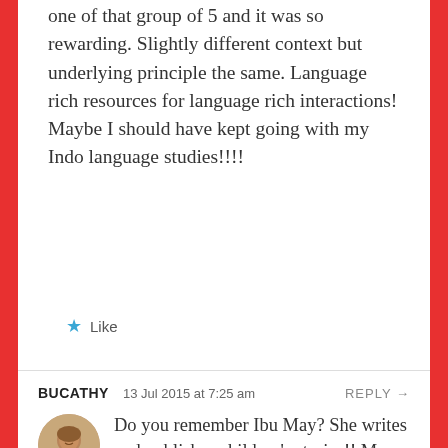one of that group of 5 and it was so rewarding. Slightly different context but underlying principle the same. Language rich resources for language rich interactions! Maybe I should have kept going with my Indo language studies!!!!
Like
BUCATHY   13 Jul 2015 at 7:25 am   REPLY →
[Figure (photo): Circular avatar photo of a smiling woman]
Do you remember Ibu May? She writes and publishes children's stories!! My next year of traveling around Indonesia already has a focus! Travel around to source ideas and illustrations and then return to Ibu May who will help me put it together!! Can't wait!